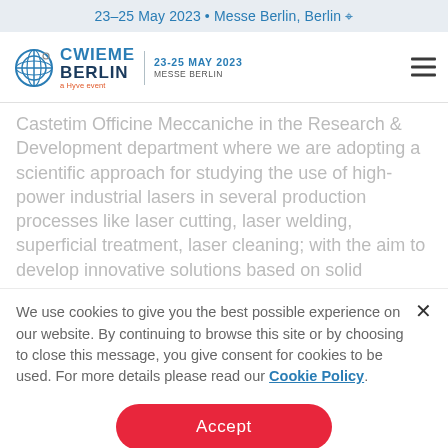23–25 May 2023 • Messe Berlin, Berlin 🌐
[Figure (logo): CWIEME Berlin logo with date 23-25 May 2023, Messe Berlin, and hamburger menu icon]
Castetim Officine Meccaniche in the Research & Development department where we are adopting a scientific approach for studying the use of high-power industrial lasers in several production processes like laser cutting, laser welding, superficial treatment, laser cleaning; with the aim to develop innovative solutions based on solid
We use cookies to give you the best possible experience on our website. By continuing to browse this site or by choosing to close this message, you give consent for cookies to be used. For more details please read our Cookie Policy.
Accept